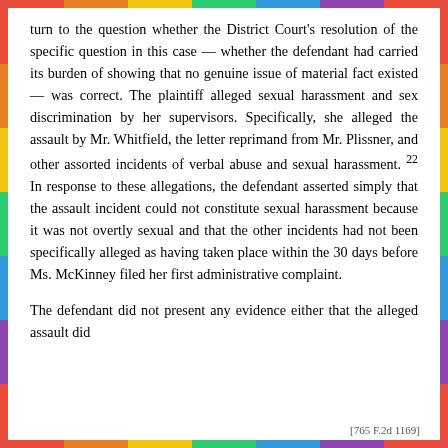turn to the question whether the District Court's resolution of the specific question in this case — whether the defendant had carried its burden of showing that no genuine issue of material fact existed — was correct. The plaintiff alleged sexual harassment and sex discrimination by her supervisors. Specifically, she alleged the assault by Mr. Whitfield, the letter reprimand from Mr. Plissner, and other assorted incidents of verbal abuse and sexual harassment. 22 In response to these allegations, the defendant asserted simply that the assault incident could not constitute sexual harassment because it was not overtly sexual and that the other incidents had not been specifically alleged as having taken place within the 30 days before Ms. McKinney filed her first administrative complaint.
The defendant did not present any evidence either that the alleged assault did
[765 F.2d 1169]